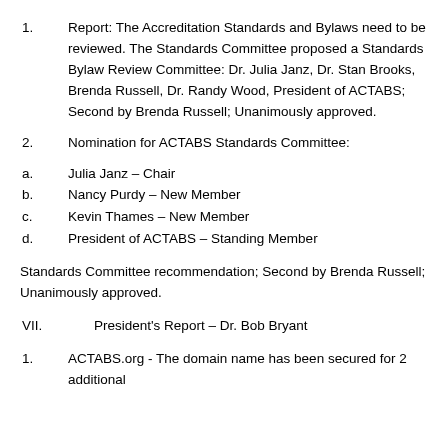1. Report: The Accreditation Standards and Bylaws need to be reviewed. The Standards Committee proposed a Standards Bylaw Review Committee: Dr. Julia Janz, Dr. Stan Brooks, Brenda Russell, Dr. Randy Wood, President of ACTABS; Second by Brenda Russell; Unanimously approved.
2. Nomination for ACTABS Standards Committee:
a. Julia Janz – Chair
b. Nancy Purdy – New Member
c. Kevin Thames – New Member
d. President of ACTABS – Standing Member
Standards Committee recommendation; Second by Brenda Russell; Unanimously approved.
VII. President's Report – Dr. Bob Bryant
1. ACTABS.org - The domain name has been secured for 2 additional